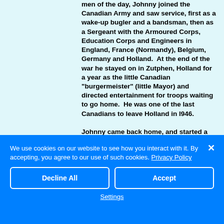men of the day, Johnny joined the Canadian Army and saw service, first as a wake-up bugler and a bandsman, then as a Sergeant with the Armoured Corps, Education Corps and Engineers in England, France (Normandy), Belgium, Germany and Holland. At the end of the war he stayed on in Zutphen, Holland for a year as the little Canadian "burgermeister" (little Mayor) and directed entertainment for troops waiting to go home. He was one of the last Canadians to leave Holland in l946.

Johnny came back home, and started a grocery business.
We use cookies on our website to see how you interact with it. By accepting, you agree to our use of such cookies. Privacy Policy
Decline All
Accept
Settings